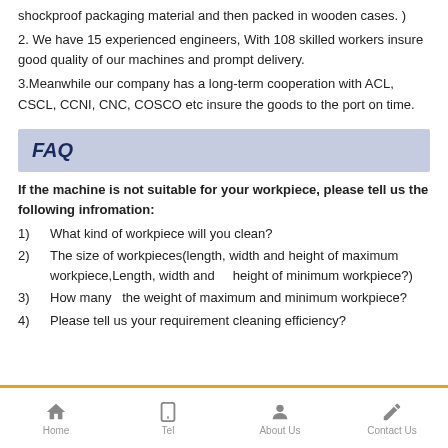shockproof packaging material and then packed in wooden cases. )
2. We have 15 experienced engineers, With 108 skilled workers insure good quality of our machines and prompt delivery.
3.Meanwhile our company has a long-term cooperation with ACL, CSCL, CCNI, CNC, COSCO etc insure the goods to the port on time.
FAQ
If the machine is not suitable for your workpiece, please tell us the following infromation:
1)    What kind of workpiece will you clean?
2)   The size of workpieces(length, width and height of maximum workpiece,Length, width and    height of minimum workpiece?)
3)    How many  the weight of maximum and minimum workpiece?
4)    Please tell us your requirement cleaning efficiency?
Home  Tel  About Us  Contact Us